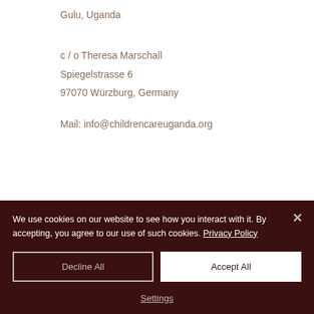Gulu, Uganda
c / o Theresa Marschall
Spiegelstrasse 6
97070 Würzburg, Germany
Mail: info@childrencareuganda.org
We use cookies on our website to see how you interact with it. By accepting, you agree to our use of such cookies. Privacy Policy
Decline All
Accept All
Settings